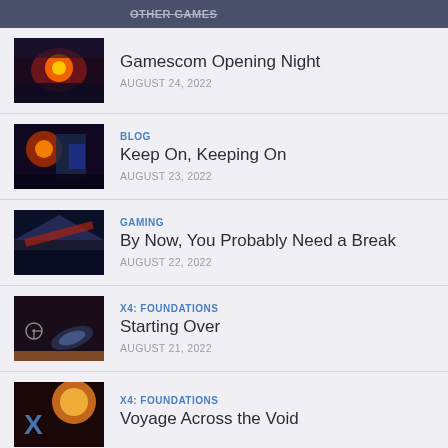OTHER GAMES | Gamescom Opening Night | AUGUST 24, 2022
BLOG | Keep On, Keeping On | AUGUST 23, 2022
GAMING | By Now, You Probably Need a Break | AUGUST 22, 2022
X4: FOUNDATIONS | Starting Over | AUGUST 21, 2022
X4: FOUNDATIONS | Voyage Across the Void